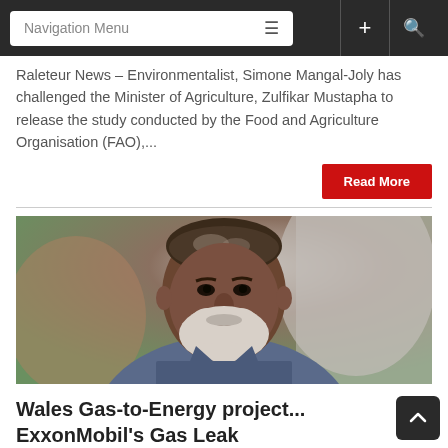Navigation Menu
Raleteur News – Environmentalist, Simone Mangal-Joly has challenged the Minister of Agriculture, Zulfikar Mustapha to release the study conducted by the Food and Agriculture Organisation (FAO),...
Read More
[Figure (photo): Portrait photo of a middle-aged man with a white beard wearing a blue suit and blue striped tie, looking serious, outdoors.]
Wales Gas-to-Energy project... ExxonMobil's Gas Leak